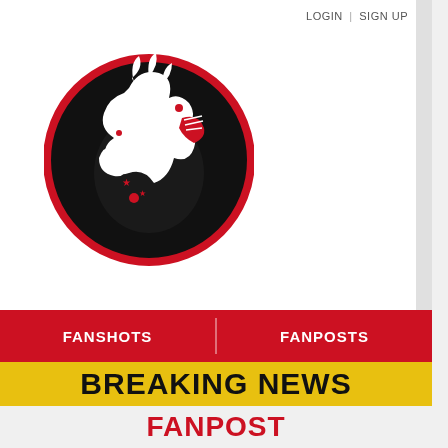LOGIN | SIGN UP
[Figure (logo): Bloody Elbow MMA news site logo: circular black badge with red border containing a stylized white fighter silhouette]
FANSHOTS
FANPOSTS
BREAKING NEWS
Watch UFC 278: Usman vs. Edwards 2 live stream here!
FANPOST